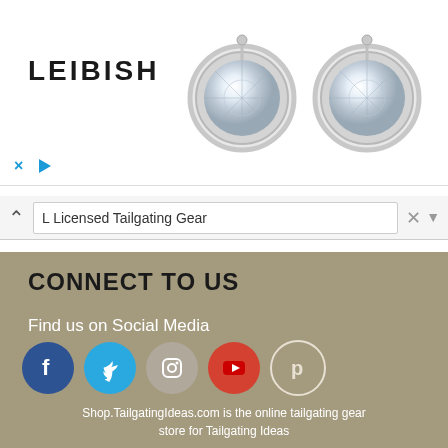[Figure (photo): Advertisement banner for LEIBISH jewelry showing two round diamond stud earrings on white background with LEIBISH logo text, and ad control icons (X and play button)]
L Licensed Tailgating Gear
CONNECT TO US
Find us on Social Media
[Figure (illustration): Row of five social media icons: Facebook (dark blue), Twitter (light blue), Instagram (grey), YouTube (red), Pinterest (outline circle)]
[Figure (illustration): Row of payment method logos: American Express, Discover, MasterCard, PayPal, Stripe, VISA — all on dark rounded rectangle backgrounds]
Shop.TailgatingIdeas.com is the online tailgating gear store for Tailgating Ideas